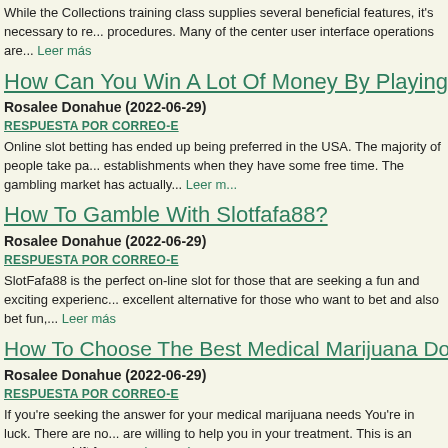While the Collections training class supplies several beneficial features, it's necessary to re... procedures. Many of the center user interface operations are... Leer más
How Can You Win A Lot Of Money By Playing Online Slots
Rosalee Donahue (2022-06-29)
RESPUESTA POR CORREO-E
Online slot betting has ended up being preferred in the USA. The majority of people take pa... establishments when they have some free time. The gambling market has actually... Leer más
How To Gamble With Slotfafa88?
Rosalee Donahue (2022-06-29)
RESPUESTA POR CORREO-E
SlotFafa88 is the perfect on-line slot for those that are seeking a fun and exciting experienc... excellent alternative for those who want to bet and also bet fun,... Leer más
How To Choose The Best Medical Marijuana Doctors For Your Pr...
Rosalee Donahue (2022-06-29)
RESPUESTA POR CORREO-E
If you're seeking the answer for your medical marijuana needs You're in luck. There are no... are willing to help you in your treatment. This is an enormous shift from a... Leer más
What Are The Best Ways To Understand The PIRAMIDSLOT...